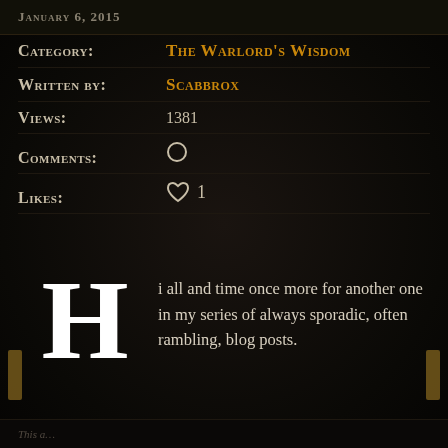JANUARY 6, 2015
Category: The Warlord's Wisdom
Written by: Scabbrox
Views: 1381
Comments: 0
Likes: ♡ 1
Hi all and time once more for another one in my series of always sporadic, often rambling, blog posts.
This a...